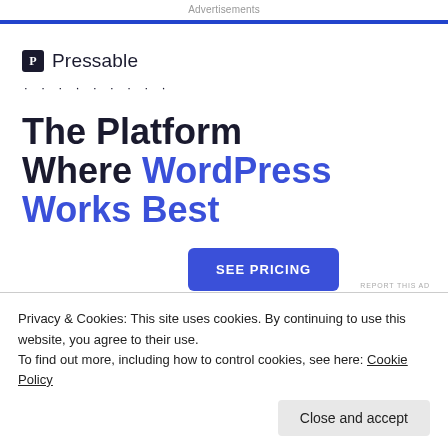Advertisements
[Figure (infographic): Pressable advertisement: logo with 'P' icon and 'Pressable' text, decorative dots, headline 'The Platform Where WordPress Works Best', blue 'SEE PRICING' button]
REPORT THIS AD
October 29, 2019 · Tagged beauty, hacks, cleaning, documentaries, food, health
Privacy & Cookies: This site uses cookies. By continuing to use this website, you agree to their use.
To find out more, including how to control cookies, see here: Cookie Policy
Close and accept